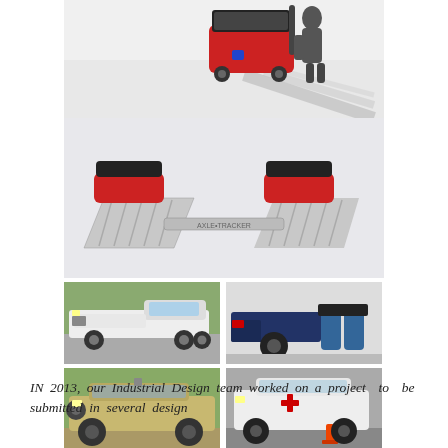[Figure (photo): A person pulling/pushing a red and black portable inspection device on wheels, casting shadows on the ground]
[Figure (photo): Two red and silver/chrome portable ramp-style weighing or scanning pads connected by a bar, shown from above on a grey background]
[Figure (photo): A white pickup truck (GMC) photographed outdoors on a parking lot]
[Figure (photo): A police car being inspected, person in jeans crouching near rear wheel]
[Figure (photo): A military Humvee in desert tan color parked outdoors]
[Figure (photo): A white Hummer H2 with a red cross emblem (medical/rescue vehicle) lifted on a jack in a garage]
IN 2013, our Industrial Design team worked on a project to be submitted in several design